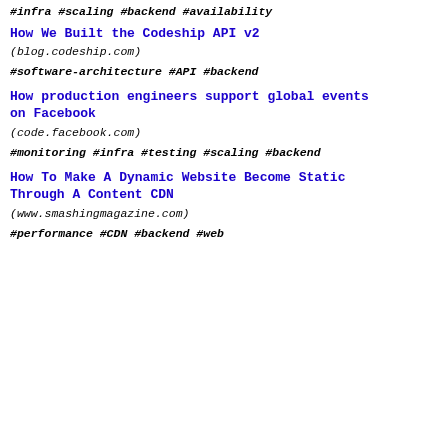#infra #scaling #backend #availability
How We Built the Codeship API v2
(blog.codeship.com)
#software-architecture #API #backend
How production engineers support global events on Facebook
(code.facebook.com)
#monitoring #infra #testing #scaling #backend
How To Make A Dynamic Website Become Static Through A Content CDN
(www.smashingmagazine.com)
#performance #CDN #backend #web